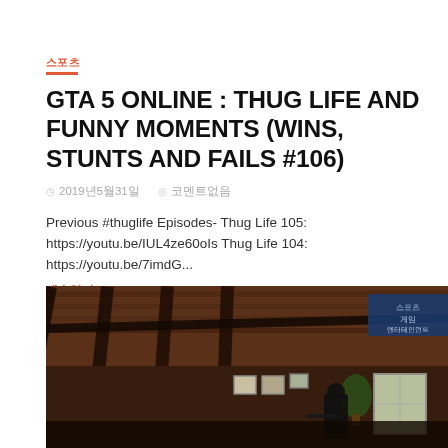스포츠
GTA 5 ONLINE : THUG LIFE AND FUNNY MOMENTS (WINS, STUNTS AND FAILS #106)
◷ 2019년5월31일    ◎ 코멘트없음
Previous #thuglife Episodes- Thug Life 105: https://youtu.be/IUL4ze60oIs Thug Life 104: https://youtu.be/7imdG...
계속읽기 ▷
[Figure (screenshot): GTA 5 game screenshot showing an interior scene viewed from above/ceiling angle with wooden beams, a character with weapon, window light, and a dark blue overlay badge in top right corner]